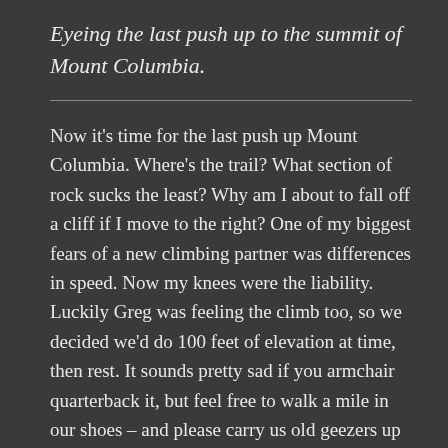Eyeing the last push up to the summit of Mount Columbia.
Now it's time for the last push up Mount Columbia. Where's the trail? What section of rock sucks the least? Why am I about to fall off a cliff if I move to the right? One of my biggest fears of a new climbing partner was differences in speed. Now my knees were the liability. Luckily Greg was feeling the climb too, so we decided we'd do 100 feet of elevation at time, then rest. It sounds pretty sad if you armchair quarterback it, but feel free to walk a mile in our shoes – and please carry us old geezers up while you do it.
Finally – the last slog is done. We didn't linger too long on the Mount Columbia summit, as we knew that the